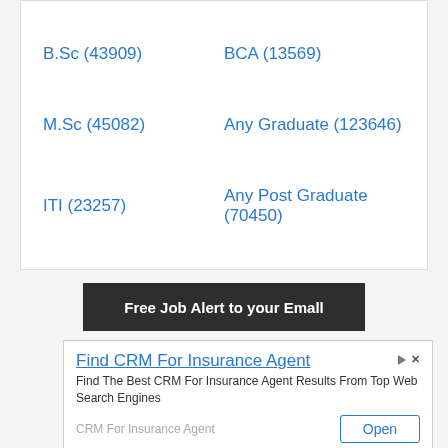B.Sc (43909)
BCA (13569)
M.Sc (45082)
Any Graduate (123646)
ITI (23257)
Any Post Graduate (70450)
[Figure (infographic): Dark banner with white bold text: Free Job Alert to your Email]
Find CRM For Insurance Agent
Find The Best CRM For Insurance Agent Results From Top Web Search Engines
CRM For Insurance Agent
Open